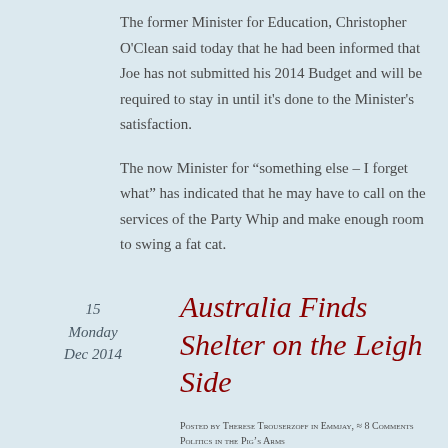The former Minister for Education, Christopher O'Clean said today that he had been informed that Joe has not submitted his 2014 Budget and will be required to stay in until it's done to the Minister's satisfaction.
The now Minister for “something else – I forget what” has indicated that he may have to call on the services of the Party Whip and make enough room to swing a fat cat.
15
Monday
Dec 2014
Australia Finds Shelter on the Leigh Side
Posted by Therese Trouserzoff in Emmjay, ≈ 8 Comments Politics in the Pig's Arms